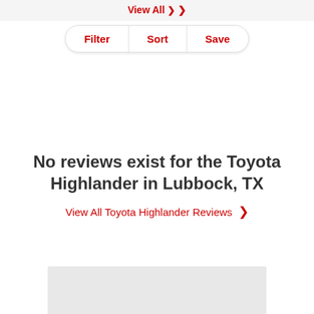View All ❯
Filter | Sort | Save
No reviews exist for the Toyota Highlander in Lubbock, TX
View All Toyota Highlander Reviews ❯
[Figure (other): Grey rectangle at bottom representing an ad or image placeholder]